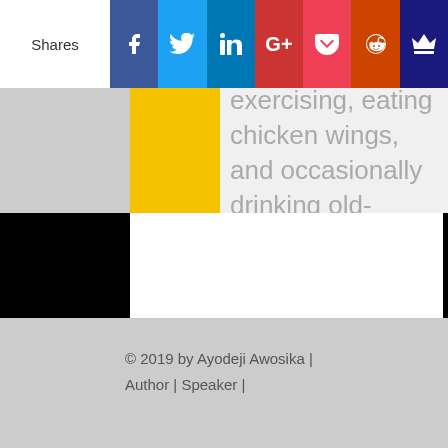Get my Bestselling Book Real Help: An Honest Guide to Self-Improvement
[Figure (screenshot): Social sharing bar with Shares label and icons: Facebook, Twitter, LinkedIn, Google+, Pocket, Reddit, King/Monarch]
reading, exercising, eating chicken wings, and occasionally drinking old-fashioned's.
© 2019 by Ayodeji Awosika | Author | Speaker |